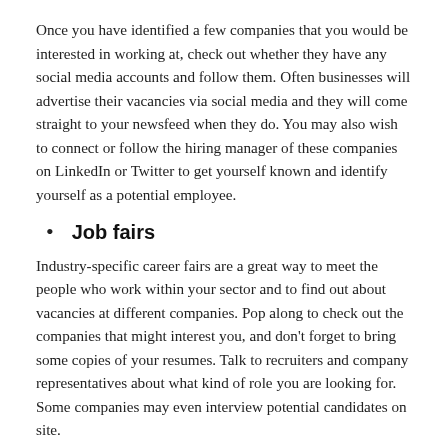Once you have identified a few companies that you would be interested in working at, check out whether they have any social media accounts and follow them. Often businesses will advertise their vacancies via social media and they will come straight to your newsfeed when they do. You may also wish to connect or follow the hiring manager of these companies on LinkedIn or Twitter to get yourself known and identify yourself as a potential employee.
Job fairs
Industry-specific career fairs are a great way to meet the people who work within your sector and to find out about vacancies at different companies. Pop along to check out the companies that might interest you, and don't forget to bring some copies of your resumes. Talk to recruiters and company representatives about what kind of role you are looking for. Some companies may even interview potential candidates on site.